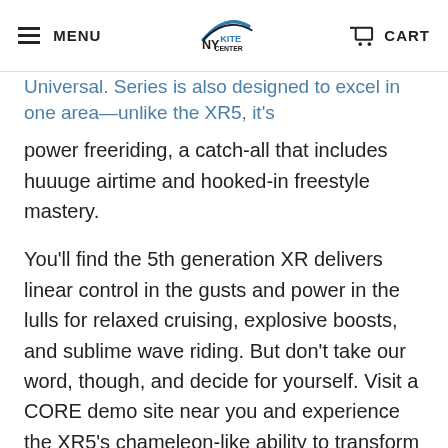MENU | NY KITE CENTER | CART
Universal. Series is also designed to excel in one area—unlike the XR5, it's
power freeriding, a catch-all that includes huuuge airtime and hooked-in freestyle mastery.
You'll find the 5th generation XR delivers linear control in the gusts and power in the lulls for relaxed cruising, explosive boosts, and sublime wave riding. But don't take our word, though, and decide for yourself. Visit a CORE demo site near you and experience the XR5's chameleon-like ability to transform to any riding style.
FEATURES: